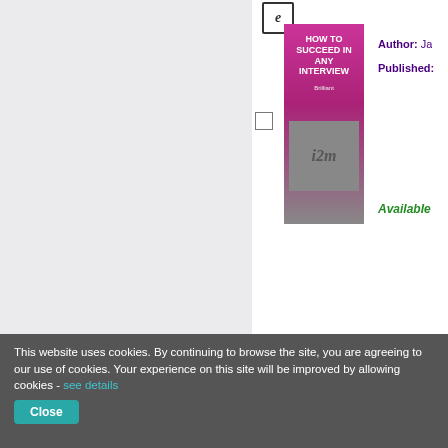[Figure (illustration): Book cover: How to Succeed in Any Interview, pink/magenta cover with bold white text]
Author: Ja
Published:
Available
[Figure (illustration): Book cover: The Guide to Learning and Study Skills, blue cover with colorful figures]
The Guide to... At Work ...
Author: Bi
Published:
This website uses cookies. By continuing to browse the site, you are agreeing to our use of cookies. Your experience on this site will be improved by allowing cookies - see details
Close